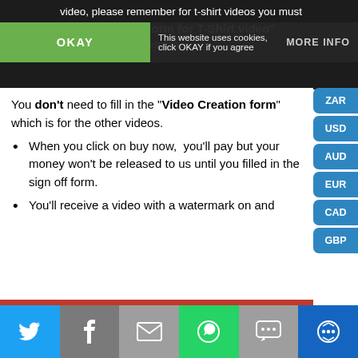video, please remember for t-shirt videos you must fill in the "Order Form for T-Shirt video" ...you as soon as possible.
This website uses cookies, click OKAY if you agree
You don't need to fill in the "Video Creation form" which is for the other videos.
When you click on buy now, you'll pay but your money won't be released to us until you filled in the sign off form.
You'll receive a video with a watermark on and then we'll do any changes to your video you...
This site uses Cookies to make your experience better. If you agree, Please click on Dismiss. Also see our Privacy Policy. Dismiss
Twitter | Facebook | Email | WhatsApp | SMS | Other